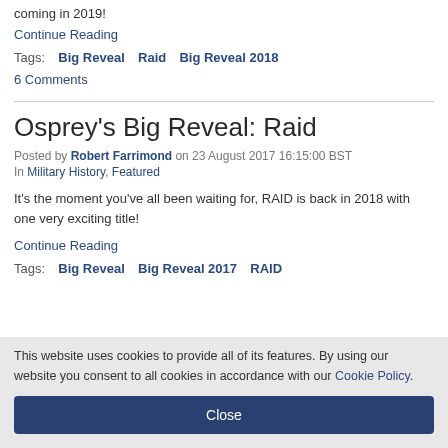coming in 2019!
Continue Reading
Tags: Big Reveal   Raid   Big Reveal 2018
6 Comments
Osprey's Big Reveal: Raid
Posted by Robert Farrimond on 23 August 2017 16:15:00 BST
In Military History, Featured
It's the moment you've all been waiting for, RAID is back in 2018 with one very exciting title!
Continue Reading
Tags: Big Reveal   Big Reveal 2017   RAID
This website uses cookies to provide all of its features. By using our website you consent to all cookies in accordance with our Cookie Policy.
Close